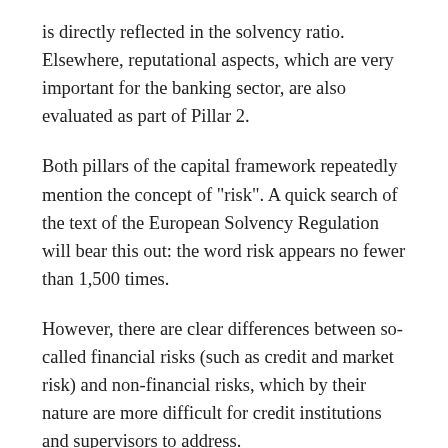is directly reflected in the solvency ratio. Elsewhere, reputational aspects, which are very important for the banking sector, are also evaluated as part of Pillar 2.
Both pillars of the capital framework repeatedly mention the concept of "risk". A quick search of the text of the European Solvency Regulation will bear this out: the word risk appears no fewer than 1,500 times.
However, there are clear differences between so-called financial risks (such as credit and market risk) and non-financial risks, which by their nature are more difficult for credit institutions and supervisors to address.